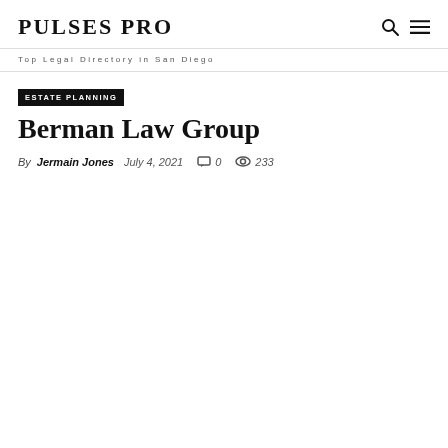PULSES PRO
Top Legal Directory in San Diego
ESTATE PLANNING
Berman Law Group
By Jermain Jones  July 4, 2021  0  233